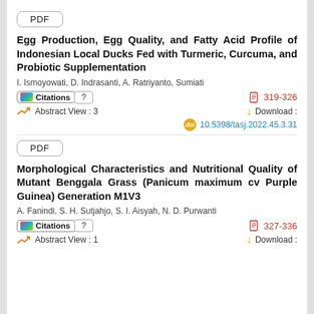[Figure (other): PDF button/badge for first article]
Egg Production, Egg Quality, and Fatty Acid Profile of Indonesian Local Ducks Fed with Turmeric, Curcuma, and Probiotic Supplementation
I. Ismoyowati, D. Indrasanti, A. Ratriyanto, Sumiati
Citations ? | 319-326
Abstract View : 3 | Download :
doi 10.5398/tasj.2022.45.3.31
[Figure (other): PDF button/badge for second article]
Morphological Characteristics and Nutritional Quality of Mutant Benggala Grass (Panicum maximum cv Purple Guinea) Generation M1V3
A. Fanindi, S. H. Sutjahjo, S. I. Aisyah, N. D. Purwanti
Citations ? | 327-336
Abstract View : 1 | Download :